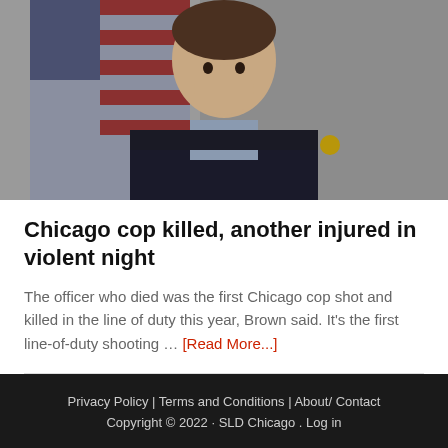[Figure (photo): Portrait photo of a female Chicago police officer in uniform with an American flag in the background, smiling.]
Chicago cop killed, another injured in violent night
The officer who died was the first Chicago cop shot and killed in the line of duty this year, Brown said. It's the first line-of-duty shooting … [Read More...]
Privacy Policy | Terms and Conditions | About/ Contact Copyright © 2022 · SLD Chicago . Log in